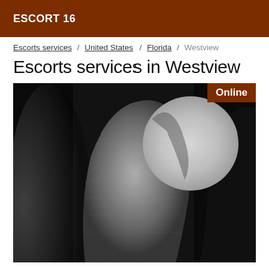ESCORT 16
Escorts services / United States / Florida / Westview
Escorts services in Westview
[Figure (photo): Black and white photograph, appears to be a close-up macro image with a rounded form against a dark background. An 'Online' badge appears in the top right corner of the image.]